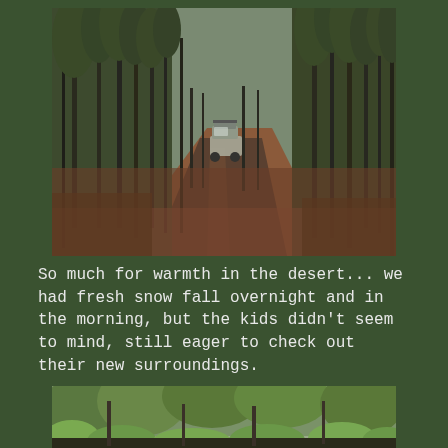[Figure (photo): A dirt forest road cutting through tall pine trees with reddish-brown fallen needles on the ground. A silver SUV with a roof rack is visible in the middle distance driving along the road.]
So much for warmth in the desert... we had fresh snow fall overnight and in the morning, but the kids didn't seem to mind, still eager to check out their new surroundings.
[Figure (photo): A forest scene with green pine trees and bushes in the foreground, appearing misty or overcast.]